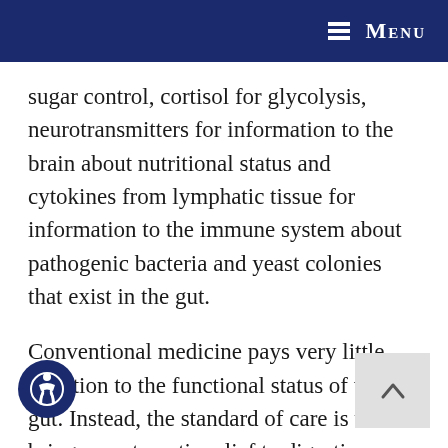Menu
sugar control, cortisol for glycolysis, neurotransmitters for information to the brain about nutritional status and cytokines from lymphatic tissue for information to the immune system about pathogenic bacteria and yeast colonies that exist in the gut.
Conventional medicine pays very little attention to the functional status of the gut. Instead, the standard of care is to bring symptomatic relief to digestive